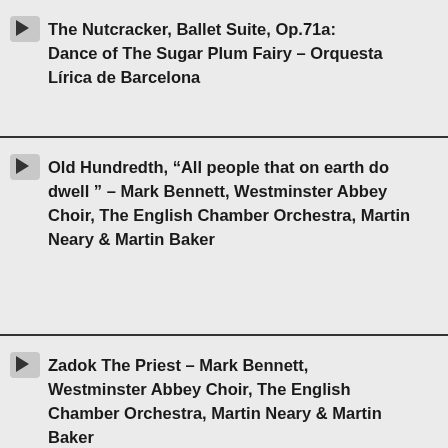The Nutcracker, Ballet Suite, Op.71a: Dance of The Sugar Plum Fairy – Orquesta Lírica de Barcelona
Old Hundredth, “All people that on earth do dwell ” – Mark Bennett, Westminster Abbey Choir, The English Chamber Orchestra, Martin Neary & Martin Baker
Zadok The Priest – Mark Bennett, Westminster Abbey Choir, The English Chamber Orchestra, Martin Neary & Martin Baker